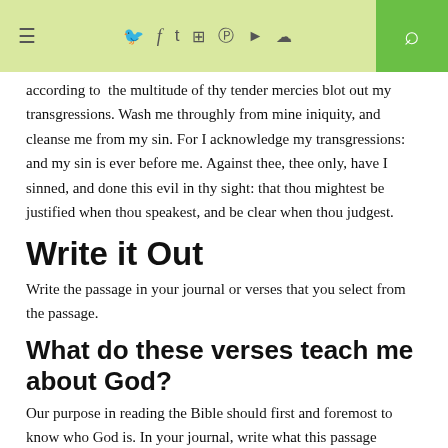≡  f  t  □  ®  ▶  ☁  🔍
according to  the multitude of thy tender mercies blot out my transgressions. Wash me throughly from mine iniquity, and cleanse me from my sin. For I acknowledge my transgressions: and my sin is ever before me. Against thee, thee only, have I sinned, and done this evil in thy sight: that thou mightest be justified when thou speakest, and be clear when thou judgest.
Write it Out
Write the passage in your journal or verses that you select from the passage.
What do these verses teach me about God?
Our purpose in reading the Bible should first and foremost to know who God is. In your journal, write what this passage teaches you about God. Then look at it in the context of the book,